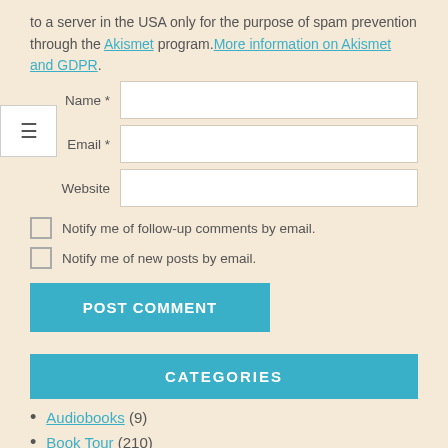to a server in the USA only for the purpose of spam prevention through the Akismet program.More information on Akismet and GDPR.
Name *
Email *
Website
Notify me of follow-up comments by email.
Notify me of new posts by email.
POST COMMENT
CATEGORIES
Audiobooks (9)
Book Tour (210)